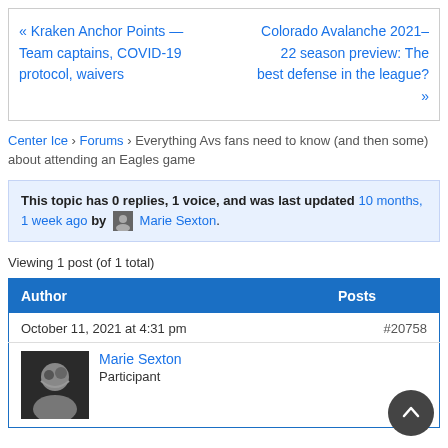« Kraken Anchor Points — Team captains, COVID-19 protocol, waivers
Colorado Avalanche 2021–22 season preview: The best defense in the league? »
Center Ice › Forums › Everything Avs fans need to know (and then some) about attending an Eagles game
This topic has 0 replies, 1 voice, and was last updated 10 months, 1 week ago by Marie Sexton.
Viewing 1 post (of 1 total)
| Author | Posts |
| --- | --- |
| October 11, 2021 at 4:31 pm | #20758 |
| Marie Sexton
Participant |  |
[Figure (illustration): Dark circular avatar photo of Marie Sexton]